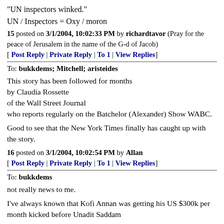"UN inspectors winked."
UN / Inspectors = Oxy / moron
15 posted on 3/1/2004, 10:02:33 PM by richardtavor (Pray for the peace of Jerusalem in the name of the G-d of Jacob)
[ Post Reply | Private Reply | To 1 | View Replies]
To: bukkdems; Mitchell; aristeides
This story has been followed for months by Claudia Rossette of the Wall Street Journal who reports regularly on the Batchelor (Alexander) Show WABC.
Good to see that the New York Times finally has caught up with the story.
16 posted on 3/1/2004, 10:02:54 PM by Allan
[ Post Reply | Private Reply | To 1 | View Replies]
To: bukkdems
not really news to me.
I've always known that Kofi Annan was getting his US $300k per month kicked before Unadit Saddam